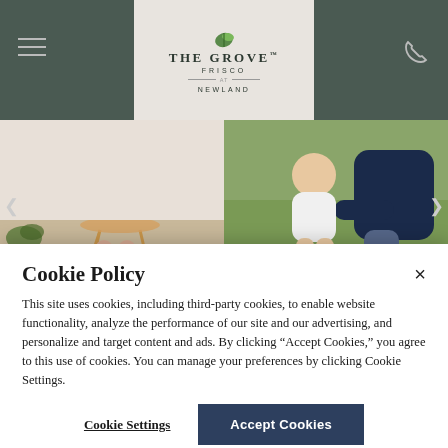The Grove Frisco at Newland — website header with navigation
[Figure (photo): Two-panel lifestyle photo strip: left panel shows legs of a person sitting in a bohemian chair on a rug with a plant; right panel shows a toddler and adult sitting on grass with a dog]
Cookie Policy
This site uses cookies, including third-party cookies, to enable website functionality, analyze the performance of our site and our advertising, and personalize and target content and ads. By clicking “Accept Cookies,” you agree to this use of cookies. You can manage your preferences by clicking Cookie Settings.
Cookie Settings
Accept Cookies